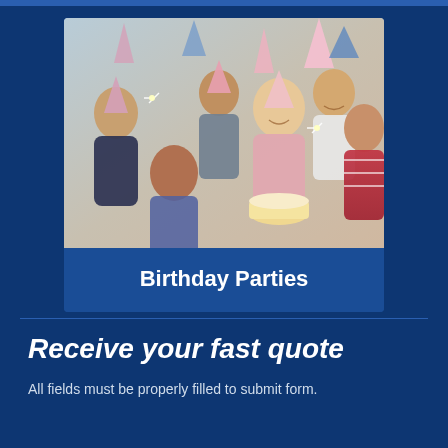[Figure (photo): Group of young adults celebrating a birthday party. A blonde woman in the center holds a bundt cake while friends surround her wearing party hats and holding sparklers. Festive blue triangle decorations are visible in the background.]
Birthday Parties
Receive your fast quote
All fields must be properly filled to submit form.